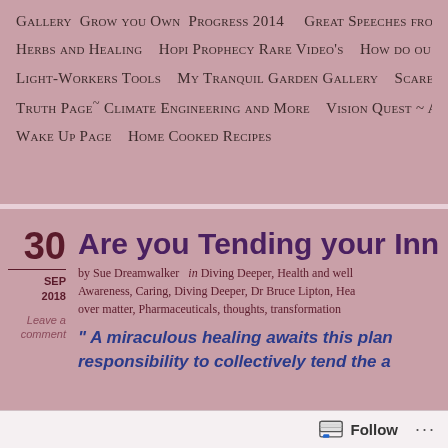Gallery Grow you Own Progress 2014   Great Speeches from   Herbs and Healing   Hopi Prophecy Rare Video's   How do ou   Light-Workers Tools   My Tranquil Garden Gallery   Scare   Truth Page~ Climate Engineering and More   Vision Quest ~ A   Wake Up Page   Home Cooked Recipes
30 SEP 2018 Are you Tending your Inner
by Sue Dreamwalker  in Diving Deeper, Health and well Awareness, Caring, Diving Deeper, Dr Bruce Lipton, Hea over matter, Pharmaceuticals, thoughts, transformation
Leave a comment
" A miraculous healing awaits this plan responsibility to collectively tend the a